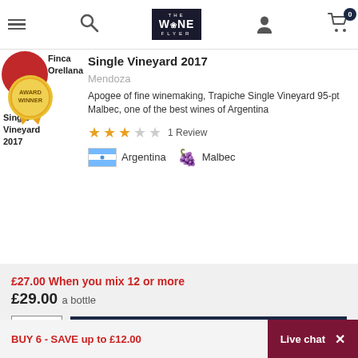The Wine Flyer — navigation bar with menu, search, logo, user, and cart (0 items)
Single Vineyard 2017
Finca Orellana Single Vineyard 2017
Mendoza
Apogee of fine winemaking, Trapiche Single Vineyard 95-pt Malbec, one of the best wines of Argentina
3 out of 5 stars — 1 Review
Argentina — Malbec
£27.00 When you mix 12 or more
£29.00 a bottle
1 — Add to basket
BUY 6 - SAVE up to £12.00
Live chat  X